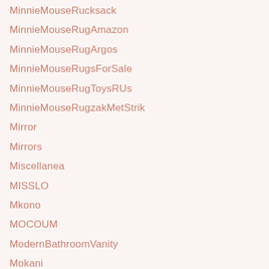MinnieMouseRucksack
MinnieMouseRugAmazon
MinnieMouseRugArgos
MinnieMouseRugsForSale
MinnieMouseRugToysRUs
MinnieMouseRugzakMetStrik
Mirror
Mirrors
Miscellanea
MISSLO
Mkono
MOCOUM
ModernBathroomVanity
Mokani
Molding